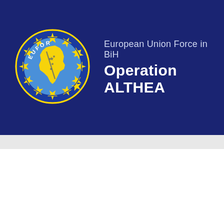[Figure (logo): EUFOR logo: a circular badge with dark blue background and a ring of yellow stars, featuring a light blue circular inner area with the yellow silhouette of Bosnia and Herzegovina map, and the text EUFOR around the top]
European Union Force in BiH
Operation ALTHEA